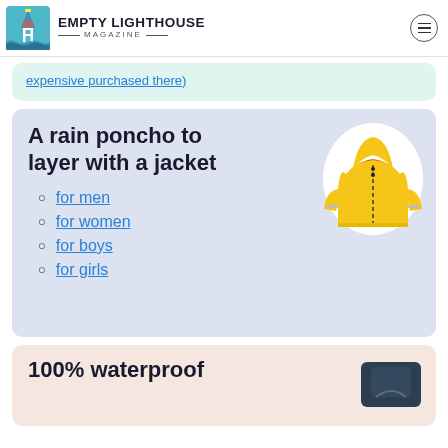EMPTY LIGHTHOUSE MAGAZINE
expensive purchased there)
A rain poncho to layer with a jacket
[Figure (photo): Yellow children's rain jacket with reflective strips and hood]
for men
for women
for boys
for girls
100% waterproof